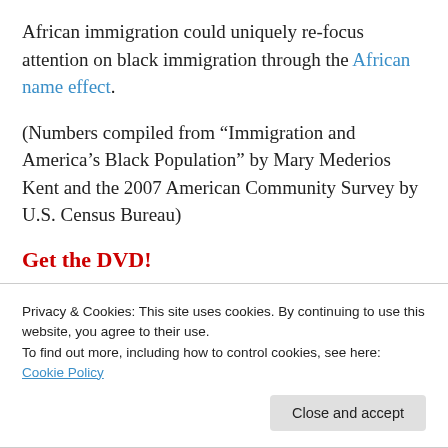African immigration could uniquely re-focus attention on black immigration through the African name effect.
(Numbers compiled from “Immigration and America’s Black Population” by Mary Mederios Kent and the 2007 American Community Survey by U.S. Census Bureau)
Get the DVD!
Share this:
Privacy & Cookies: This site uses cookies. By continuing to use this website, you agree to their use.
To find out more, including how to control cookies, see here: Cookie Policy